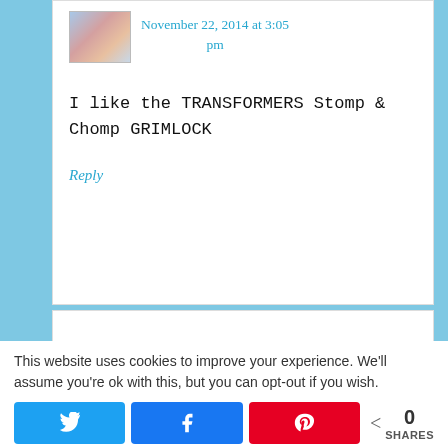November 22, 2014 at 3:05 pm
I like the TRANSFORMERS Stomp & Chomp GRIMLOCK
Reply
This website uses cookies to improve your experience. We'll assume you're ok with this, but you can opt-out if you wish.
0 SHARES